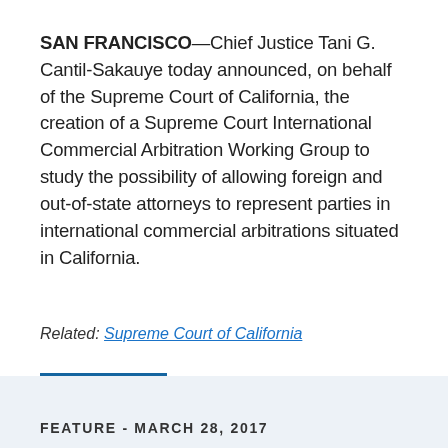SAN FRANCISCO—Chief Justice Tani G. Cantil-Sakauye today announced, on behalf of the Supreme Court of California, the creation of a Supreme Court International Commercial Arbitration Working Group to study the possibility of allowing foreign and out-of-state attorneys to represent parties in international commercial arbitrations situated in California.
Related: Supreme Court of California
CHIEF JUSTICE
FEATURE - MARCH 28, 2017